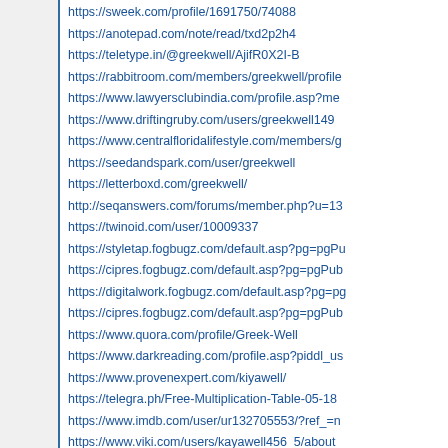https://sweek.com/profile/1691750/74088
https://anotepad.com/note/read/txd2p2h4
https://teletype.in/@greekwell/AjifR0X2I-B
https://rabbitroom.com/members/greekwell/profile
https://www.lawyersclubindia.com/profile.asp?me
https://www.driftingruby.com/users/greekwell149
https://www.centralfloridalifestyle.com/members/g
https://seedandspark.com/user/greekwell
https://letterboxd.com/greekwell/
http://seqanswers.com/forums/member.php?u=13
https://twinoid.com/user/10009337
https://styletap.fogbugz.com/default.asp?pg=pgPu
https://cipres.fogbugz.com/default.asp?pg=pgPub
https://digitalwork.fogbugz.com/default.asp?pg=pg
https://cipres.fogbugz.com/default.asp?pg=pgPub
https://www.quora.com/profile/Greek-Well
https://www.darkreading.com/profile.asp?piddl_us
https://www.provenexpert.com/kiyawell/
https://telegra.ph/Free-Multiplication-Table-05-18
https://www.imdb.com/user/ur132705553/?ref_=n
https://www.viki.com/users/kayawell456_5/about
http://forums.powwows.com/members/906153.htr
https://worldbeyblade.org/User-kayawell
https://pro.ideafit.com/profile/kayawell-well
https://www.pckitci.com/user/editDone/34717.pa